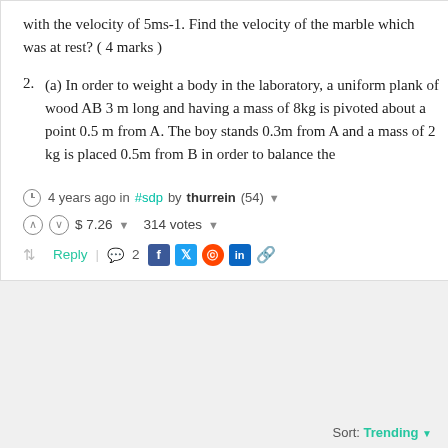with the velocity of 5ms-1. Find the velocity of the marble which was at rest? ( 4 marks )
2. (a) In order to weight a body in the laboratory, a uniform plank of wood AB 3 m long and having a mass of 8kg is pivoted about a point 0.5 m from A. The boy stands 0.3m from A and a mass of 2 kg is placed 0.5m from B in order to balance the
4 years ago in #sdp by thurrein (54)
$ 7.26  314 votes
Reply  2
Sort: Trending